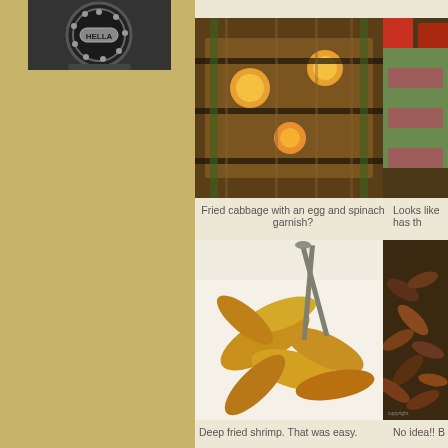[Figure (photo): Hella brand round LED light bar, black, with Hella logo visible, monochrome photo]
[Figure (photo): Fried cabbage with egg and spinach garnish - food items arranged on tray]
[Figure (photo): Partial view of food item, looks like hash something]
Fried cabbage with an egg and spinach garnish?
Looks like has th
[Figure (photo): Deep fried shrimp on white tray with tongs]
[Figure (photo): Shells or shellfish, colorful mixed seafood]
Deep fried shrimp. That was easy.
No idea!! B
[Figure (photo): Dark colored food item at bottom left, partially visible]
[Figure (photo): Light colored food item at bottom right, partially visible, price tag 150 visible]